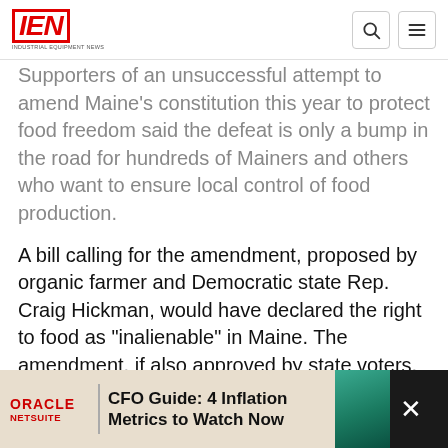IEN — INDUSTRIAL EQUIPMENT NEWS
Supporters of an unsuccessful attempt to amend Maine's constitution this year to protect food freedom said the defeat is only a bump in the road for hundreds of Mainers and others who want to ensure local control of food production.
A bill calling for the amendment, proposed by organic farmer and Democratic state Rep. Craig Hickman, would have declared the right to food as "inalienable" in Maine. The amendment, if also approved by state voters, would have made it impossible to infringe upon residents' ability to hunt, gather or farm for whatever food they choose, or to prevent them from buying from others who produc[ed such food]
[Figure (screenshot): Oracle NetSuite advertisement banner: 'CFO Guide: 4 Inflation Metrics to Watch Now']